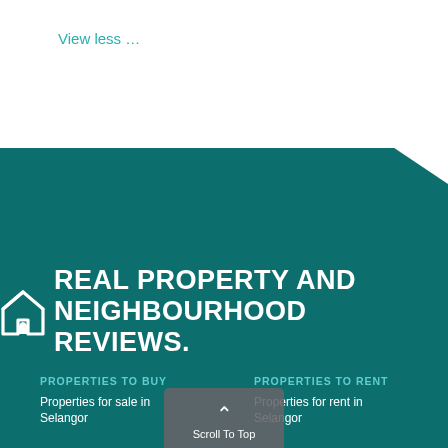View less …
[Figure (logo): Real Property and Neighbourhood Reviews logo with house icon and bold white text on teal background]
PROPERTIES TO BUY
Properties for sale in Selangor
PROPERTIES TO RENT
Properties for rent in Selangor
Scroll To Top